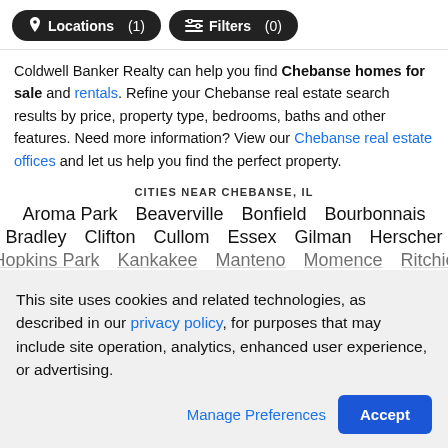Locations (1)   Filters (0)
Coldwell Banker Realty can help you find Chebanse homes for sale and rentals. Refine your Chebanse real estate search results by price, property type, bedrooms, baths and other features. Need more information? View our Chebanse real estate offices and let us help you find the perfect property.
CITIES NEAR CHEBANSE, IL
Aroma Park   Beaverville   Bonfield   Bourbonnais
Bradley   Clifton   Cullom   Essex   Gilman   Herscher
Hop... Park   Kank...   Mant...   Mon...   Ritc...
This site uses cookies and related technologies, as described in our privacy policy, for purposes that may include site operation, analytics, enhanced user experience, or advertising.
Manage Preferences   Accept